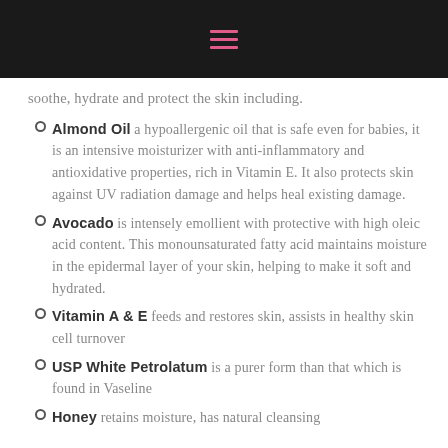[hamburger menu icon]
soothe, hydrate and protect the skin including.
Almond Oil a hypoallergenic oil that is safe even for babies, it is an intensive moisturizer with anti-inflammatory and antioxidative properties, rich in Vitamin E. It also protects skin against UV radiation damage and helps heal existing damage.
Avocado is intensely emollient with protective with high oleic acid content. This monounsaturated fatty acid maintains moisture in the epidermal layer of your skin, helping to make it soft and hydrated.
Vitamin A & E feeds and restores skin, assists in healthy skin cell turnover
USP White Petrolatum is a purer form than that which is found in Vaseline
Honey retains moisture, has natural cleansing